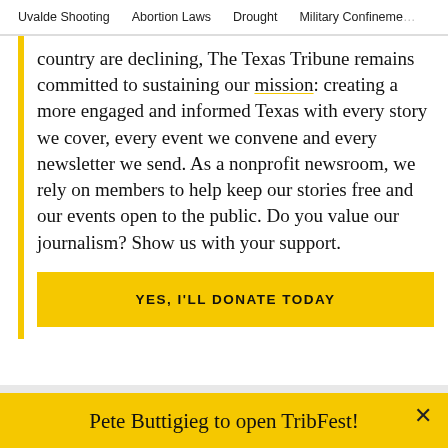Uvalde Shooting   Abortion Laws   Drought   Military Confinement
country are declining, The Texas Tribune remains committed to sustaining our mission: creating a more engaged and informed Texas with every story we cover, every event we convene and every newsletter we send. As a nonprofit newsroom, we rely on members to help keep our stories free and our events open to the public. Do you value our journalism? Show us with your support.
YES, I'LL DONATE TODAY
Pete Buttigieg to open TribFest!
BUY TICKETS